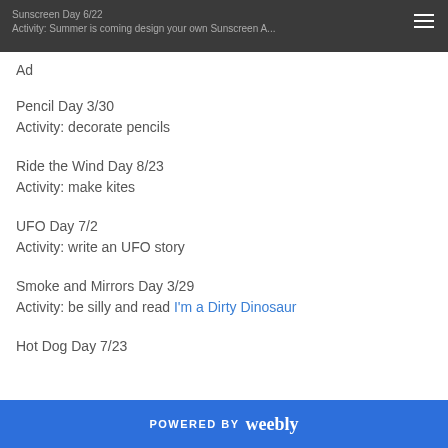Sunscreen Day 6/22
Activity: Summer is coming design your own Sunscreen Ad
Ad
Pencil Day 3/30
Activity: decorate pencils
Ride the Wind Day 8/23
Activity: make kites
UFO Day 7/2
Activity: write an UFO story
Smoke and Mirrors Day 3/29
Activity: be silly and read I'm a Dirty Dinosaur
Hot Dog Day 7/23
POWERED BY weebly